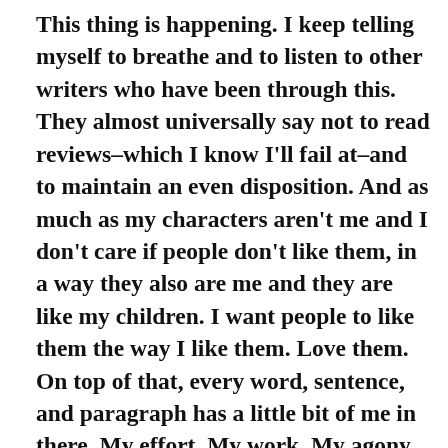This thing is happening. I keep telling myself to breathe and to listen to other writers who have been through this. They almost universally say not to read reviews–which I know I'll fail at–and to maintain an even disposition. And as much as my characters aren't me and I don't care if people don't like them, in a way they also are me and they are like my children. I want people to like them the way I like them. Love them. On top of that, every word, sentence, and paragraph has a little bit of me in there. My effort. My work. My agony over the best adjective in a particular place. Or the hours of watching YouTube videos of people